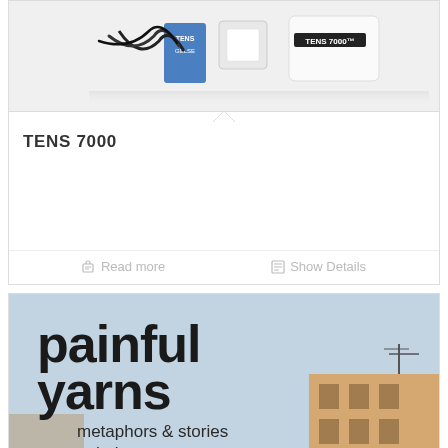[Figure (photo): TENS 7000 medical device product photo showing the TENS unit, electrodes, cables, and packaging on a white background]
TENS 7000
Read more
Show Details
[Figure (photo): Book cover of 'painful yarns' with subtitle 'metaphors & stories to help understand the biology', shown against urban building background]